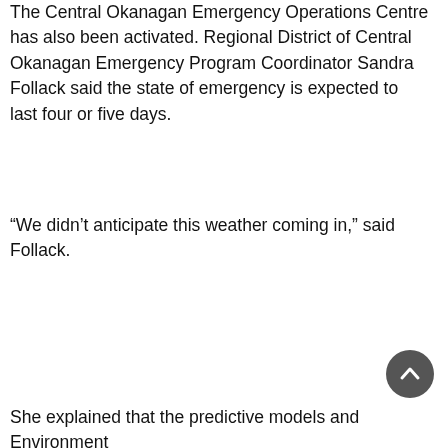The Central Okanagan Emergency Operations Centre has also been activated. Regional District of Central Okanagan Emergency Program Coordinator Sandra Follack said the state of emergency is expected to last four or five days.
“We didn’t anticipate this weather coming in,” said Follack.
She explained that the predictive models and Environment